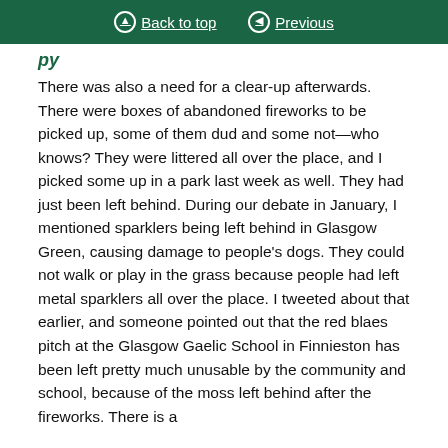Back to top | Previous
There was also a need for a clear-up afterwards. There were boxes of abandoned fireworks to be picked up, some of them dud and some not—who knows? They were littered all over the place, and I picked some up in a park last week as well. They had just been left behind. During our debate in January, I mentioned sparklers being left behind in Glasgow Green, causing damage to people's dogs. They could not walk or play in the grass because people had left metal sparklers all over the place. I tweeted about that earlier, and someone pointed out that the red blaes pitch at the Glasgow Gaelic School in Finnieston has been left pretty much unusable by the community and school, because of the moss left behind after the fireworks. There is a